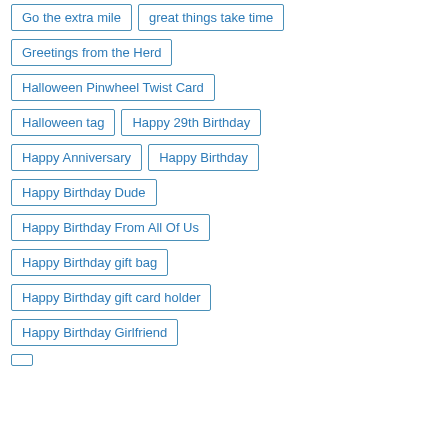Go the extra mile
great things take time
Greetings from the Herd
Halloween Pinwheel Twist Card
Halloween tag
Happy 29th Birthday
Happy Anniversary
Happy Birthday
Happy Birthday Dude
Happy Birthday From All Of Us
Happy Birthday gift bag
Happy Birthday gift card holder
Happy Birthday Girlfriend